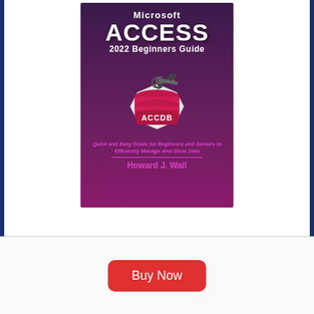[Figure (illustration): Book cover for 'Microsoft ACCESS 2022 Beginners Guide' by Howard J. Wall. Dark purple/maroon background with large white text title. Center illustration shows a red cylindrical database stack (ACCDB) with metal keys on top and a white hexagonal base. Pink subtitle text: Quick and Easy Guide for Beginners and Seniors to Efficiently Manage And Store Data. Pink author name Howard J. Wall at bottom of cover.]
[Figure (other): Red rounded-rectangle Buy Now button at the bottom of the page.]